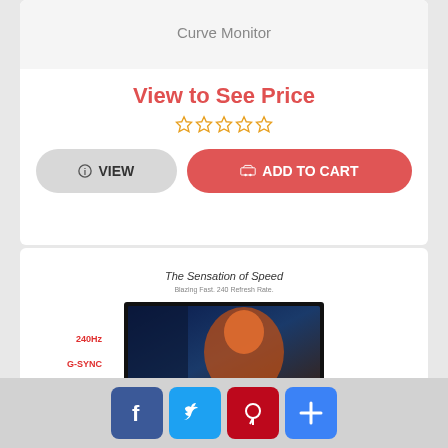Curve Monitor
View to See Price
[Figure (other): Five empty gold star rating icons]
VIEW
ADD TO CART
[Figure (photo): Gaming monitor product image with text 'The Sensation of Speed', '240Hz', 'G-SYNC', 'Scary' labels and a gaming monitor displaying a sci-fi warrior]
[Figure (other): Social media share buttons: Facebook, Twitter, Pinterest, and a plus/share button]